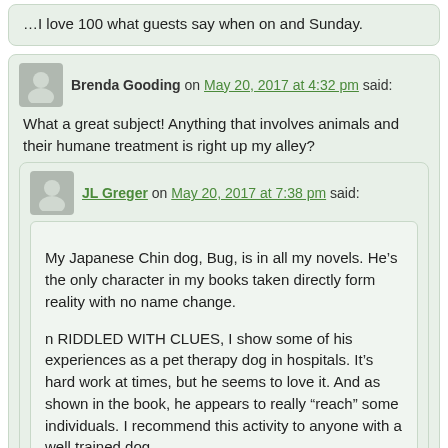…I love 100 what guests say when on and Sunday.
Brenda Gooding on May 20, 2017 at 4:32 pm said:
What a great subject! Anything that involves animals and their humane treatment is right up my alley?
JL Greger on May 20, 2017 at 7:38 pm said:
My Japanese Chin dog, Bug, is in all my novels. He’s the only character in my books taken directly form reality with no name change.

n RIDDLED WITH CLUES, I show some of his experiences as a pet therapy dog in hospitals. It’s hard work at times, but he seems to love it. And as shown in the book, he appears to really “reach” some individuals. I recommend this activity to anyone with a well trained dog.
Amy M. Reade on May 20, 2017 at 6:00 pm said: